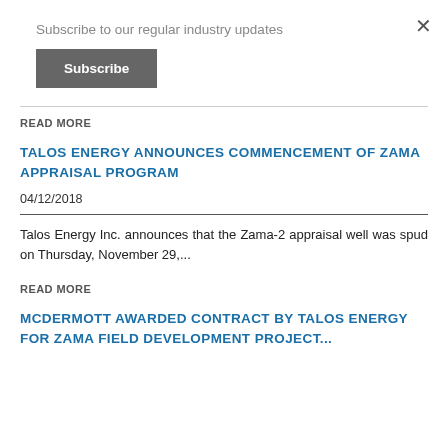Subscribe to our regular industry updates
Subscribe
READ MORE
TALOS ENERGY ANNOUNCES COMMENCEMENT OF ZAMA APPRAISAL PROGRAM
04/12/2018
Talos Energy Inc. announces that the Zama-2 appraisal well was spud on Thursday, November 29,...
READ MORE
MCDERMOTT AWARDED CONTRACT BY TALOS ENERGY FOR ZAMA FIELD DEVELOPMENT PROJECT...